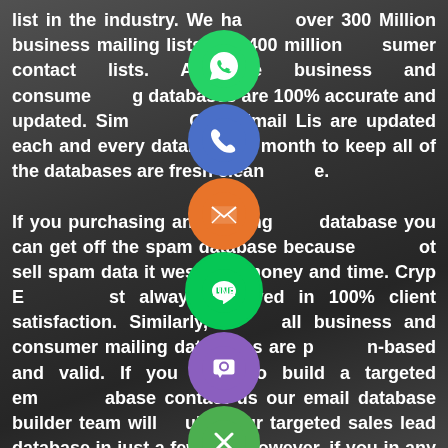list in the industry. We have over 300 Million business mailing lists and 400 million consumer contact lists. All the business and consumer mailing databases are 100% accurate and updated. Similarly, Cryp Email Lis are updated each and every database each month to keep all of the databases are fresh clean and live.

If you purchasing any mailing database you can get off the spam database because we do not sell spam data it west you money and time. Cryp Email List always believed in 100% client satisfaction. Similarly, our all business and consumer mailing databases are permission-based and valid. If you need to build a targeted email database contact us our email database builder team will build your targeted sales lead database in just a few days. However, if you in any questions about our email database you can contact our support team 24/7. You can also download your free data (simple) and test our data quality.
[Figure (infographic): A vertical column of social media / messaging app icon buttons overlaid on the text: WhatsApp (green), Phone (blue/purple), Email (orange), LINE (green), Viber (purple), Close/X (green)]